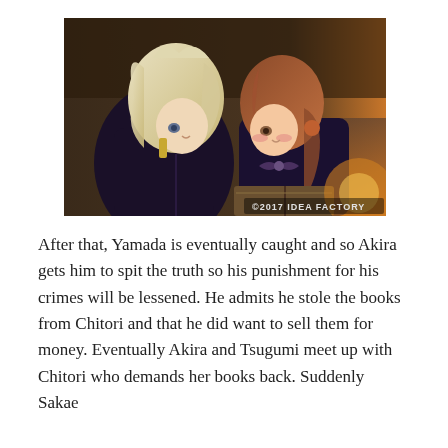[Figure (illustration): Anime illustration showing two characters — one with white/silver hair wearing a dark uniform and one with brown hair wearing a dark outfit with a ribbon — facing each other closely as if about to kiss, with a book visible and a warm background. Watermark reads ©2017 IDEA FACTORY.]
After that, Yamada is eventually caught and so Akira gets him to spit the truth so his punishment for his crimes will be lessened. He admits he stole the books from Chitori and that he did want to sell them for money. Eventually Akira and Tsugumi meet up with Chitori who demands her books back. Suddenly Sakae